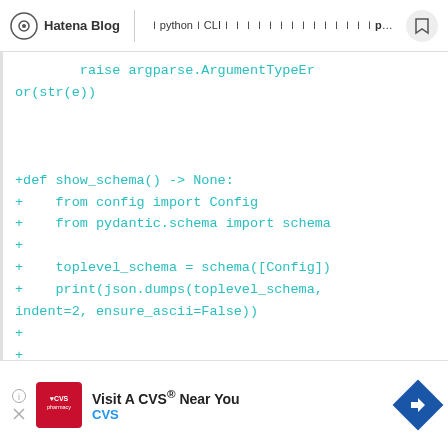Hatena Blog | ｌpythonｌCLIｌｌｌｌｌｌｌｌｌｌｌｌｌｌpydanticｌｌｌｌｌｌ
raise argparse.ArgumentTypeError(str(e))


+def show_schema() -> None:
+    from config import Config
+    from pydantic.schema import schema
+
+    toplevel_schema = schema([Config])
+    print(json.dumps(toplevel_schema,
indent=2, ensure_ascii=False))
+
+
[Figure (screenshot): CVS pharmacy advertisement banner at the bottom: 'Visit A CVS® Near You' with CVS logo and navigation arrow icon]